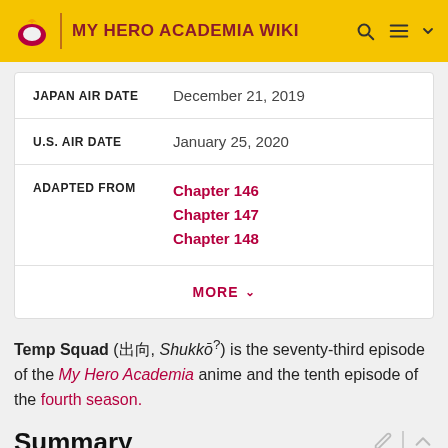MY HERO ACADEMIA WIKI
| Field | Value |
| --- | --- |
| JAPAN AIR DATE | December 21, 2019 |
| U.S. AIR DATE | January 25, 2020 |
| ADAPTED FROM | Chapter 146
Chapter 147
Chapter 148 |
MORE
Temp Squad (出向, Shukkō?) is the seventy-third episode of the My Hero Academia anime and the tenth episode of the fourth season.
Summary